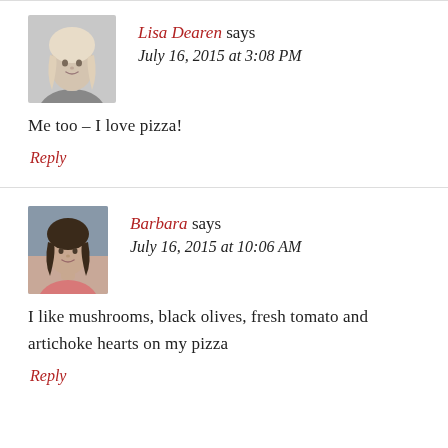[Figure (photo): Black and white profile photo of Lisa Dearen, a woman with light blonde hair]
Lisa Dearen says
July 16, 2015 at 3:08 PM
Me too – I love pizza!
Reply
[Figure (photo): Color profile photo of Barbara, a woman with dark hair wearing a pink top]
Barbara says
July 16, 2015 at 10:06 AM
I like mushrooms, black olives, fresh tomato and artichoke hearts on my pizza
Reply